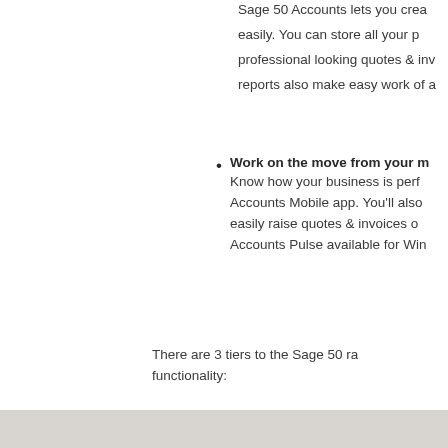Sage 50 Accounts lets you create and manage your customers & suppliers easily. You can store all your professional looking quotes & invoices. reports also make easy work of a
Work on the move from your m Know how your business is performing with the Sage 50 Accounts Mobile app. You'll also be able to easily raise quotes & invoices on the move. Accounts Pulse available for Wind
There are 3 tiers to the Sage 50 range, each with increasing functionality:
I. Accounts (Basic entry level softw
II. Accounts Plus (Additional Stock f
III. Accounts Professional (Full SO currency)